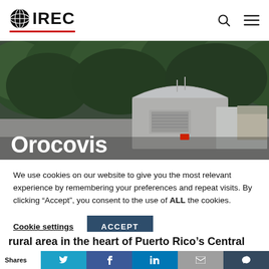OIREC logo with navigation icons (search, menu)
[Figure (photo): Outdoor photo showing a water/energy facility building with curved metal roof and ventilation units, surrounded by lush green trees in what appears to be a tropical rural setting. White bold text 'Orocovis' overlaid at lower left.]
Orocovis
We use cookies on our website to give you the most relevant experience by remembering your preferences and repeat visits. By clicking “Accept”, you consent to the use of ALL the cookies.
Cookie settings   ACCEPT
rural area in the heart of Puerto Rico’s Central
Shares [Twitter] [Facebook] [LinkedIn] [Email] [Other]